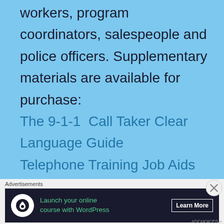workers, program coordinators, salespeople and police officers. Supplementary materials are available for purchase:
The 9-1-1  Call Taker Clear Language Guide
Telephone Training Job Aids
Advertisements
[Figure (screenshot): Advertisement banner: Launch your online course with WordPress - Learn More button]